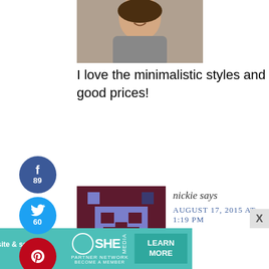[Figure (photo): Profile photo of a woman smiling, cropped at bottom]
I love the minimalistic styles and good prices!
Reply
[Figure (illustration): Social share buttons sidebar: Facebook 89, Twitter 60, Pinterest; 149 SHARES]
[Figure (illustration): Pixel art avatar in dark maroon and blue]
nickie says
AUGUST 17, 2015 AT 1:19 PM
[Figure (infographic): SHE Media partner network ad banner with woman photo, bullet point about earning site and social revenue, SHE logo, LEARN MORE button]